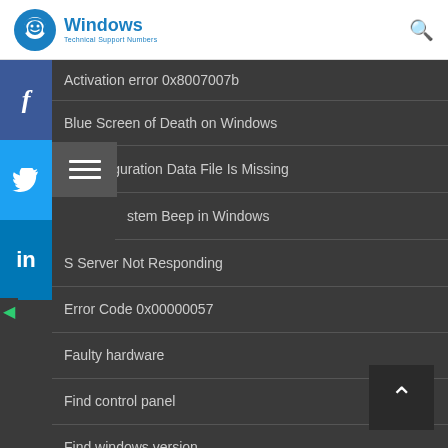Windows Technical Support Numbers
Activation error 0x8007007b
Blue Screen of Death on Windows
Boot Configuration Data File Is Missing
Disable System Beep in Windows
DNS Server Not Responding
Error Code 0x00000057
Faulty hardware
Find control panel
Find windows version
Fix a Blue Screen Error
Fix AP Mode Not Supported error